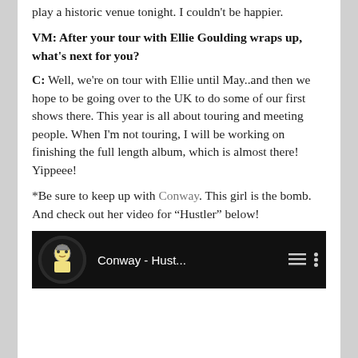play a historic venue tonight. I couldn't be happier.
VM: After your tour with Ellie Goulding wraps up, what's next for you?
C: Well, we're on tour with Ellie until May..and then we hope to be going over to the UK to do some of our first shows there. This year is all about touring and meeting people. When I'm not touring, I will be working on finishing the full length album, which is almost there! Yippeee!
*Be sure to keep up with Conway. This girl is the bomb. And check out her video for “Hustler” below!
[Figure (screenshot): YouTube video thumbnail showing Conway - Hust... with a circular avatar icon on the left, video title in white text on black background, and menu icons on the right.]